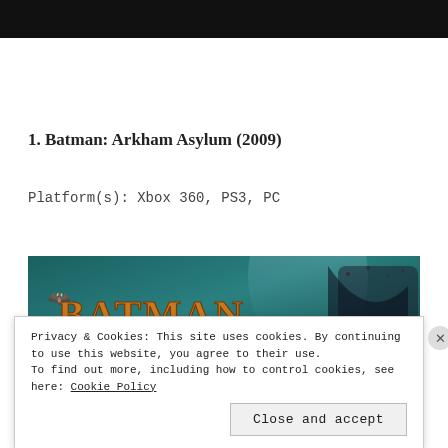[Figure (photo): Black header bar at top of page]
1. Batman: Arkham Asylum (2009)
Platform(s): Xbox 360, PS3, PC
[Figure (photo): Batman: Arkham Asylum game cover image showing the Batman logo in orange/gold against a teal and stormy background]
Privacy & Cookies: This site uses cookies. By continuing to use this website, you agree to their use.
To find out more, including how to control cookies, see here: Cookie Policy
Close and accept